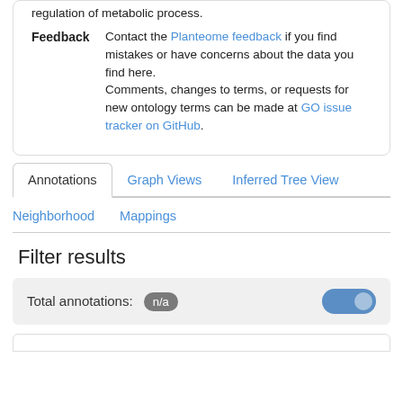regulation of metabolic process.
Feedback
Contact the Planteome feedback if you find mistakes or have concerns about the data you find here.
Comments, changes to terms, or requests for new ontology terms can be made at GO issue tracker on GitHub.
Annotations
Graph Views
Inferred Tree View
Neighborhood
Mappings
Filter results
Total annotations: n/a